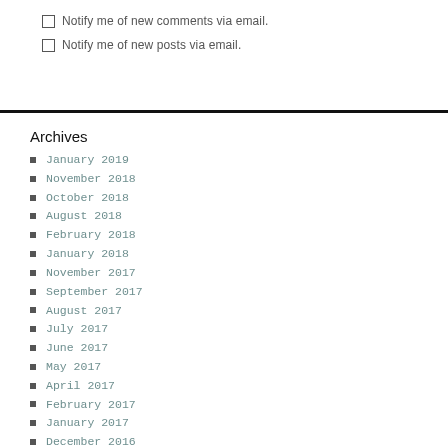Notify me of new comments via email.
Notify me of new posts via email.
Archives
January 2019
November 2018
October 2018
August 2018
February 2018
January 2018
November 2017
September 2017
August 2017
July 2017
June 2017
May 2017
April 2017
February 2017
January 2017
December 2016
November 2016
October 2016